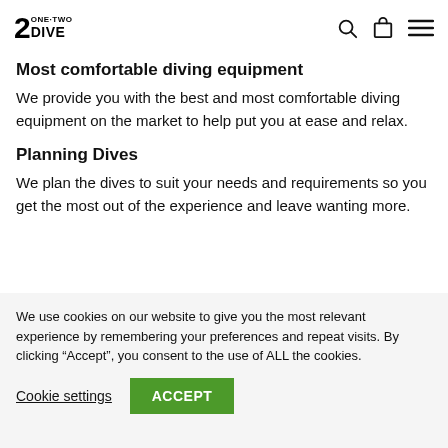2 ONE-TWO DIVE
Most comfortable diving equipment
We provide you with the best and most comfortable diving equipment on the market to help put you at ease and relax.
Planning Dives
We plan the dives to suit your needs and requirements so you get the most out of the experience and leave wanting more.
We use cookies on our website to give you the most relevant experience by remembering your preferences and repeat visits. By clicking “Accept”, you consent to the use of ALL the cookies.
Cookie settings | ACCEPT